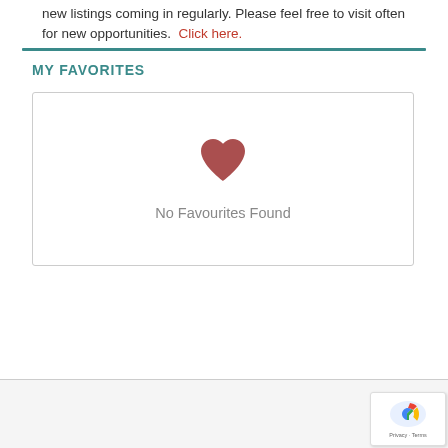new listings coming in regularly. Please feel free to visit often for new opportunities. Click here.
MY FAVORITES
[Figure (illustration): Empty state panel with a red heart icon and text 'No Favourites Found']
No Favourites Found